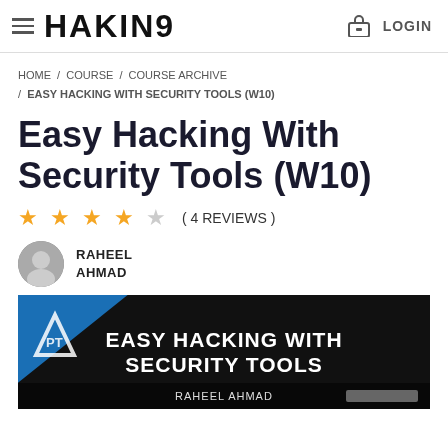HAKIN9 | LOGIN
HOME / COURSE / COURSE ARCHIVE / EASY HACKING WITH SECURITY TOOLS (W10)
Easy Hacking With Security Tools (W10)
( 4 REVIEWS )
RAHEEL AHMAD
[Figure (screenshot): Course banner image with dark background showing 'EASY HACKING WITH SECURITY TOOLS' in white bold text, blue diagonal stripe on the left with a PT logo, and 'RAHEEL AHMAD' text at the bottom.]